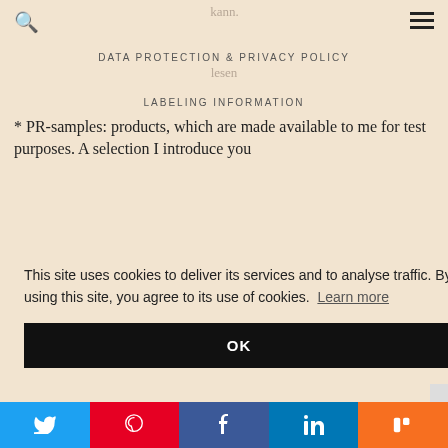… Produkte/Marken für 24 Tools Watercomplex'ion kann.
DATA PROTECTION & PRIVACY POLICY
lesen
LABELING INFORMATION
* PR-samples: products, which are made available to me for test purposes. A selection I introduce you
This site uses cookies to deliver its services and to analyse traffic. By using this site, you agree to its use of cookies. Learn more
OK